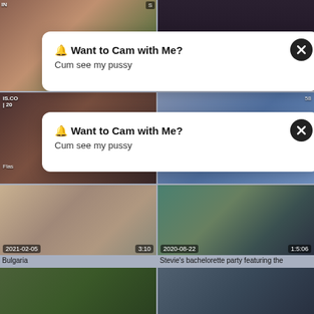[Figure (screenshot): Video thumbnail grid with popup notifications. Row 1: two video thumbnails partially obscured by a popup. Row 2: two video thumbnails with a second popup. Row 3: left thumb dated 2021-02-05 duration 3:10 labeled Bulgaria; right thumb dated 2020-08-22 duration 1:5:06 labeled Stevie's bachelorette party featuring the. Row 4: two more video thumbnails.]
🔔 Want to Cam with Me?
Cum see my pussy
🔔 Want to Cam with Me?
Cum see my pussy
Bulgaria
Stevie's bachelorette party featuring the